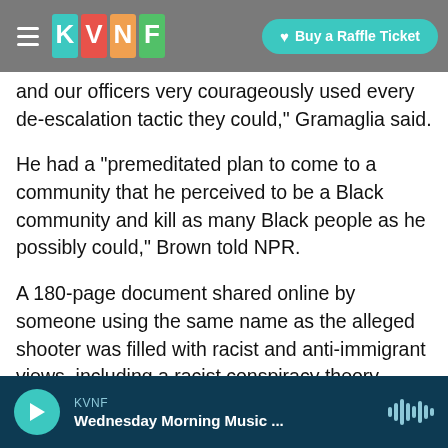KVNF | Buy a Raffle Ticket
and our officers very courageously used every de-escalation tactic they could," Gramaglia said.
He had a "premeditated plan to come to a community that he perceived to be a Black community and kill as many Black people as he possibly could," Brown told NPR.
A 180-page document shared online by someone using the same name as the alleged shooter was filled with racist and anti-immigrant views, including a racist conspiracy theory called the "great replacement" that holds that white Americans are supposedly at risk of being "replaced" by people of
KVNF — Wednesday Morning Music ...